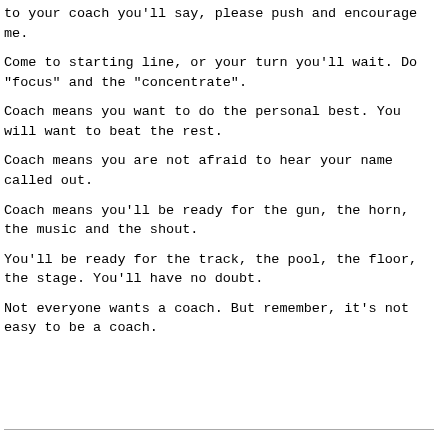to your coach you'll say, please push and encourage me.
Come to starting line, or your turn you'll wait. Do "focus" and the "concentrate".
Coach means you want to do the personal best. You will want to beat the rest.
Coach means you are not afraid to hear your name called out.
Coach means you'll be ready for the gun, the horn, the music and the shout.
You'll be ready for the track, the pool, the floor, the stage. You'll have no doubt.
Not everyone wants a coach. But remember, it's not easy to be a coach.